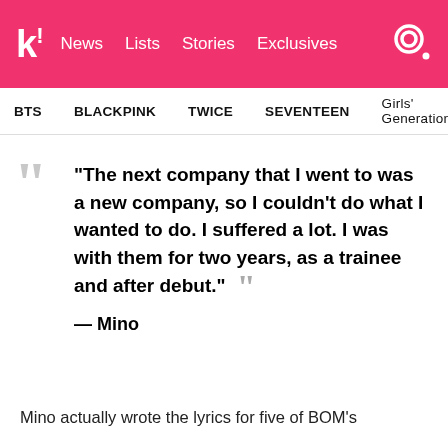k! News  Lists  Stories  Exclusives
BTS  BLACKPINK  TWICE  SEVENTEEN  Girls' Generation
“The next company that I went to was a new company, so I couldn’t do what I wanted to do. I suffered a lot. I was with them for two years, as a trainee and after debut.” — Mino
Mino actually wrote the lyrics for five of BOM’s